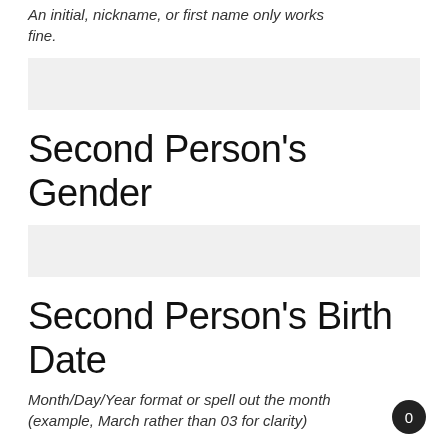An initial, nickname, or first name only works fine.
Second Person’s Gender
Second Person’s Birth Date
Month/Day/Year format or spell out the month (example, March rather than 03 for clarity)